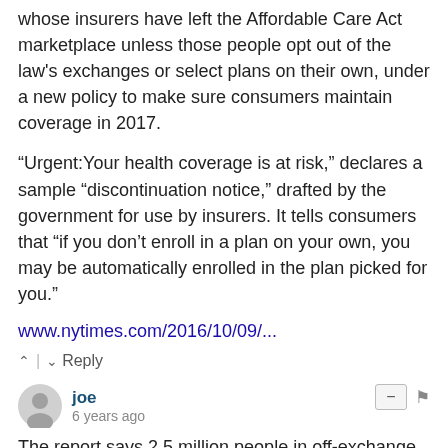whose insurers have left the Affordable Care Act marketplace unless those people opt out of the law's exchanges or select plans on their own, under a new policy to make sure consumers maintain coverage in 2017.
“Urgent: Your health coverage is at risk,” declares a sample “discontinuation notice,” drafted by the government for use by insurers. It tells consumers that “if you don’t enroll in a plan on your own, you may be automatically enrolled in the plan picked for you.”
www.nytimes.com/2016/10/09/...
⌃ | ⌄  Reply
joe
6 years ago
The report says 2.5 million people in off-exchange policies are potentially eligible for APTC based on income. Some of them don't qualify for APTC because they have an offer of employer coverage that is considered affordable for the individual employed despite the cost for family coverage being too expensive so I question whether 1.7 million of